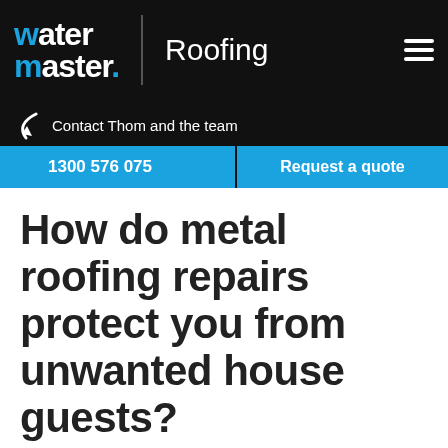[Figure (logo): Watermaster Roofing logo with navigation bar showing 'water master' in white and blue text, 'Roofing' label, and hamburger menu icon on black background]
Contact Thom and the team
1300 576 075
Request a quote
How do metal roofing repairs protect you from unwanted house guests?